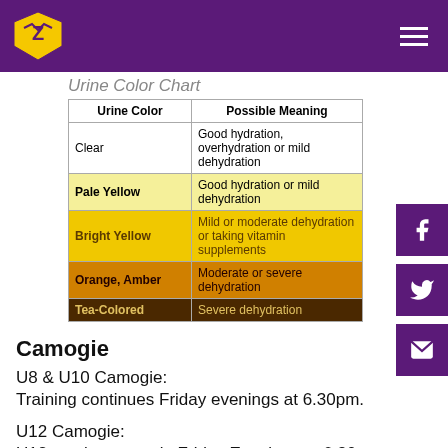San Bruinsear GAA – navigation header
Urine Color Chart
| Urine Color | Possible Meaning |
| --- | --- |
| Clear | Good hydration, overhydration or mild dehydration |
| Pale Yellow | Good hydration or mild dehydration |
| Bright Yellow | Mild or moderate dehydration or taking vitamin supplements |
| Orange, Amber | Moderate or severe dehydration |
| Tea-Colored | Severe dehydration |
Camogie
U8 & U10 Camogie:
Training continues Friday evenings at 6.30pm.
U12 Camogie:
U12 continue to train Friday Evenings at 6.30pm.
U14 Camogie: